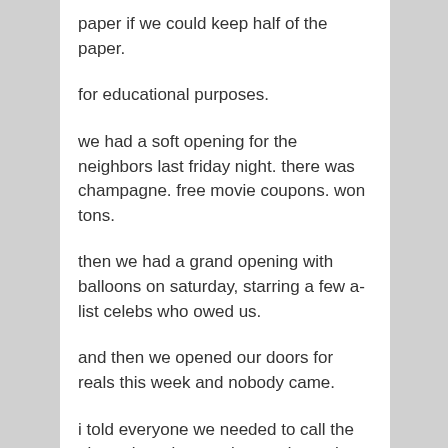paper if we could keep half of the paper.
for educational purposes.
we had a soft opening for the neighbors last friday night. there was champagne. free movie coupons. won tons.
then we had a grand opening with balloons on saturday, starring a few a-list celebs who owed us.
and then we opened our doors for reals this week and nobody came.
i told everyone we needed to call the place sixty nine anytime and rent the dvds for 69